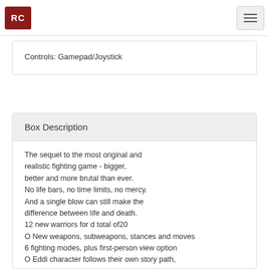RC
Controls: Gamepad/Joystick
Box Description
The sequel to the most original and realistic fighting game - bigger, better and more brutal than ever. No life bars, no time limits, no mercy. And a single blow can still make the difference between life and death. 12 new warriors for d total of20 O New weapons, subweapons, stances and moves 6 fighting modes, plus first-person view option O Eddi character follows their own story path, with unique encounters and endings Two-handed swordplay, throwing weapons, mud-slinging and more